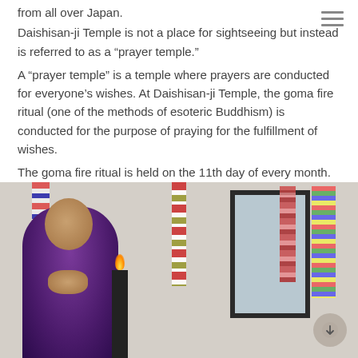from all over Japan.
Daishisan-ji Temple is not a place for sightseeing but instead is referred to as a “prayer temple.”
A “prayer temple” is a temple where prayers are conducted for everyone’s wishes. At Daishisan-ji Temple, the goma fire ritual (one of the methods of esoteric Buddhism) is conducted for the purpose of praying for the fulfillment of wishes.
The goma fire ritual is held on the 11th day of every month.
[Figure (photo): A Buddhist monk in purple robes bowing in prayer before an altar with candles, inside a temple decorated with colorful hanging ornaments and stoles.]